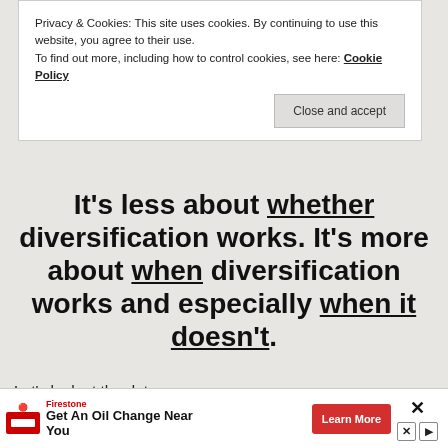Privacy & Cookies: This site uses cookies. By continuing to use this website, you agree to their use.
To find out more, including how to control cookies, see here: Cookie Policy
Close and accept
It's less about whether diversification works. It's more about when diversification works and especially when it doesn't.
Let's look at the data some more...
To better see when diversification works and when it doesn't let's plot year over year returns (though
[Figure (screenshot): Advertisement banner: Firestone 'Get An Oil Change Near You' with Learn More button]